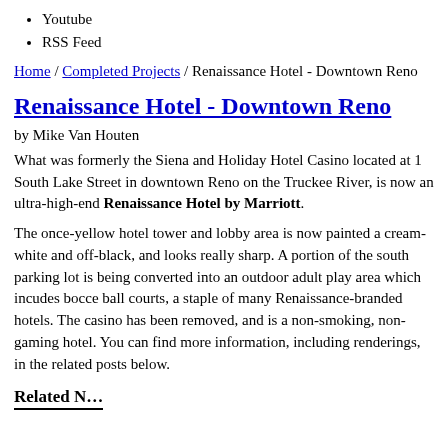Youtube
RSS Feed
Home / Completed Projects / Renaissance Hotel - Downtown Reno
Renaissance Hotel - Downtown Reno
by Mike Van Houten
What was formerly the Siena and Holiday Hotel Casino located at 1 South Lake Street in downtown Reno on the Truckee River, is now an ultra-high-end Renaissance Hotel by Marriott.
The once-yellow hotel tower and lobby area is now painted a cream-white and off-black, and looks really sharp. A portion of the south parking lot is being converted into an outdoor adult play area which incudes bocce ball courts, a staple of many Renaissance-branded hotels. The casino has been removed, and is a non-smoking, non-gaming hotel. You can find more information, including renderings, in the related posts below.
Related N…